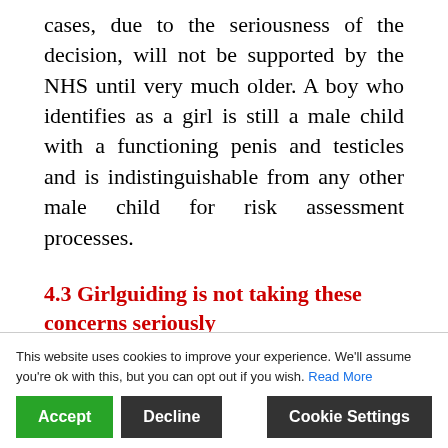cases, due to the seriousness of the decision, will not be supported by the NHS until very much older. A boy who identifies as a girl is still a male child with a functioning penis and testicles and is indistinguishable from any other male child for risk assessment processes.
4.3 Girlguiding is not taking these concerns seriously
Someone's gender identity does not, and should not be considered to, change the material reality of their biology. It is, at best, and negligent at worst, to assume … absence of evidence to the contrary. It is responsible, justifiable and
Cookie banner: This website uses cookies to improve your experience. We'll assume you're ok with this, but you can opt out if you wish. Read More | Accept | Decline | Cookie Settings